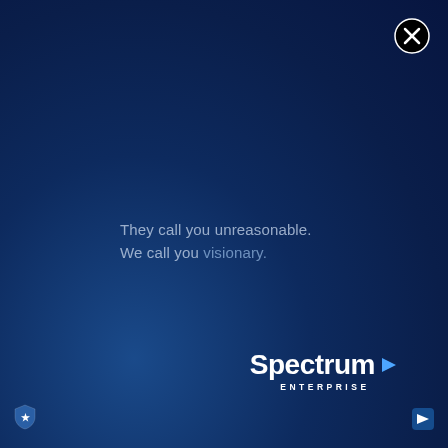[Figure (logo): Close button circle with X in top right corner]
They call you unreasonable.
We call you visionary.
[Figure (logo): Spectrum Enterprise logo with blue arrow and enterprise text]
[Figure (logo): Small shield icon in bottom left corner]
[Figure (logo): Small arrow icon in bottom right corner]